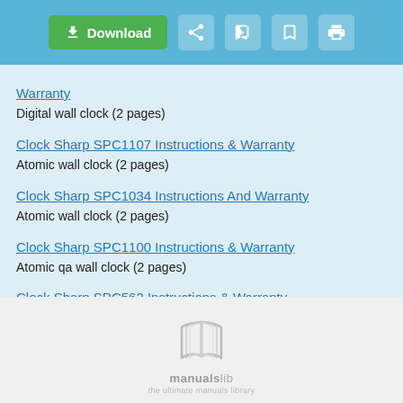[Figure (screenshot): Top navigation bar with Download button and icons for share, add, bookmark, and print]
Warranty
Digital wall clock (2 pages)
Clock Sharp SPC1107 Instructions & Warranty
Atomic wall clock (2 pages)
Clock Sharp SPC1034 Instructions And Warranty
Atomic wall clock (2 pages)
Clock Sharp SPC1100 Instructions & Warranty
Atomic qa wall clock (2 pages)
Clock Sharp SPC562 Instructions & Warranty
(2 pages)
[Figure (logo): ManualsLib logo — open book icon with text 'manualslib the ultimate manuals library']
2012-2022 ManualsLib